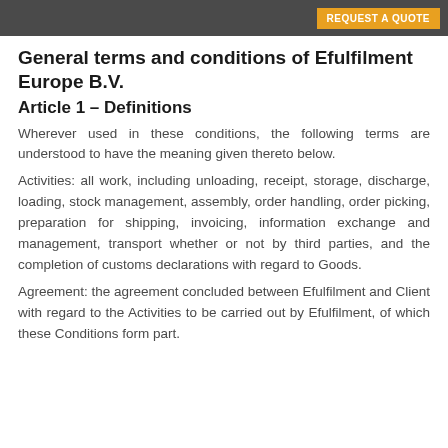REQUEST A QUOTE
General terms and conditions of Efulfilment Europe B.V.
Article 1 – Definitions
Wherever used in these conditions, the following terms are understood to have the meaning given thereto below.
Activities: all work, including unloading, receipt, storage, discharge, loading, stock management, assembly, order handling, order picking, preparation for shipping, invoicing, information exchange and management, transport whether or not by third parties, and the completion of customs declarations with regard to Goods.
Agreement: the agreement concluded between Efulfilment and Client with regard to the Activities to be carried out by Efulfilment, of which these Conditions form part.